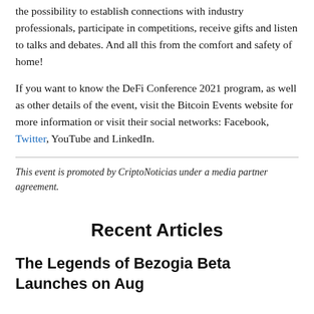the possibility to establish connections with industry professionals, participate in competitions, receive gifts and listen to talks and debates. And all this from the comfort and safety of home!
If you want to know the DeFi Conference 2021 program, as well as other details of the event, visit the Bitcoin Events website for more information or visit their social networks: Facebook, Twitter, YouTube and LinkedIn.
This event is promoted by CriptoNoticias under a media partner agreement.
Recent Articles
The Legends of Bezogia Beta Launches on Aug